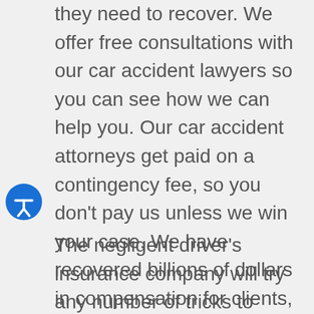they need to recover. We offer free consultations with our car accident lawyers so you can see how we can help you. Our car accident attorneys get paid on a contingency fee, so you don't pay us unless we win your case. We have recovered billions of dollars in compensation for clients, let us help you too.
The negligent driver's insurance company will try any number of tricks to minimize the settlement. Our car accident attorneys will handle the insurance companies, so your case does not fall prey to any low-handed tactics. Brad Nakase used to work on the side of insurance companies, so he has